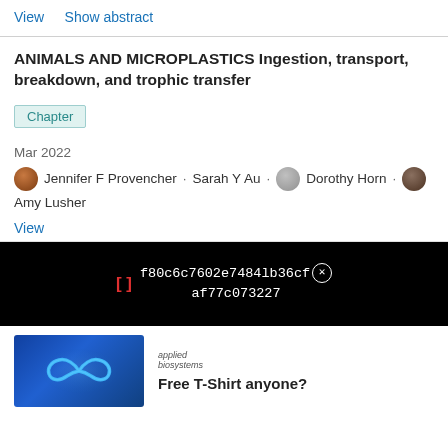View   Show abstract
ANIMALS AND MICROPLASTICS Ingestion, transport, breakdown, and trophic transfer
Chapter
Mar 2022
Jennifer F Provencher · Sarah Y Au · Dorothy Horn · Amy Lusher
View
f80c6c7602e7484lb36cf af77c073227
[Figure (other): Advertisement image with Applied Biosystems logo and infinity symbol on blue background]
applied biosystems
Free T-Shirt anyone?